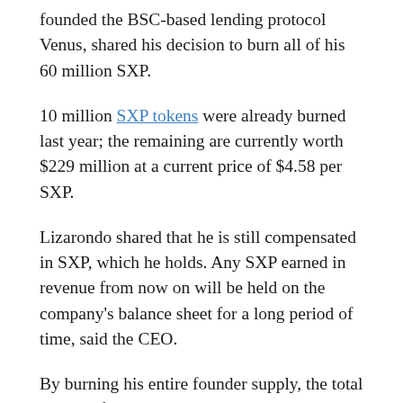founded the BSC-based lending protocol Venus, shared his decision to burn all of his 60 million SXP.
10 million SXP tokens were already burned last year; the remaining are currently worth $229 million at a current price of $4.58 per SXP.
Lizarondo shared that he is still compensated in SXP, which he holds. Any SXP earned in revenue from now on will be held on the company's balance sheet for a long period of time, said the CEO.
By burning his entire founder supply, the total supply of SXP has been reduced by 17.5%, with an end goal of having only 100 million SXP in supply. Currently, the maximum supply is 285 million, as per Coingecko. Lizarondo said,